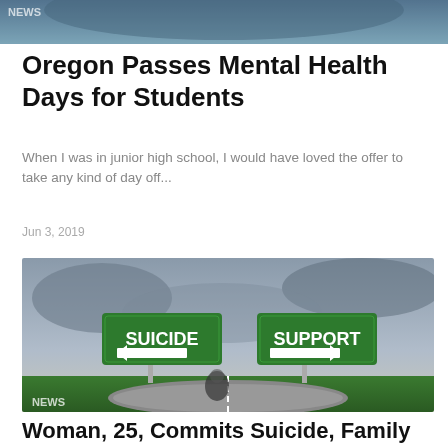[Figure (photo): Top partial image, appears to be a blurred news image header]
Oregon Passes Mental Health Days for Students
When I was in junior high school, I would have loved the offer to take any kind of day off...
Jun 3, 2019
[Figure (photo): Two green road signs side by side against stormy sky. Left sign reads SUICIDE with left-pointing arrow. Right sign reads SUPPORT with right-pointing arrow. A person stands at the crossroads below.]
Woman, 25, Commits Suicide, Family